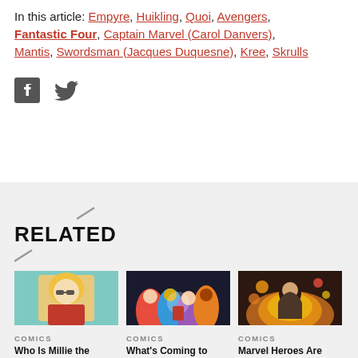In this article: Empyre, Huikling, Quoi, Avengers, Fantastic Four, Captain Marvel (Carol Danvers), Mantis, Swordsman (Jacques Duquesne), Kree, Skrulls
[Figure (other): Facebook and Twitter social share icons]
RELATED
[Figure (illustration): Comic illustration of Millie the Model character - blonde woman in retro style]
COMICS
Who Is Millie the
[Figure (photo): Group photo of Marvel superheroes]
COMICS
What's Coming to
[Figure (illustration): Marvel hero with fire background]
COMICS
Marvel Heroes Are